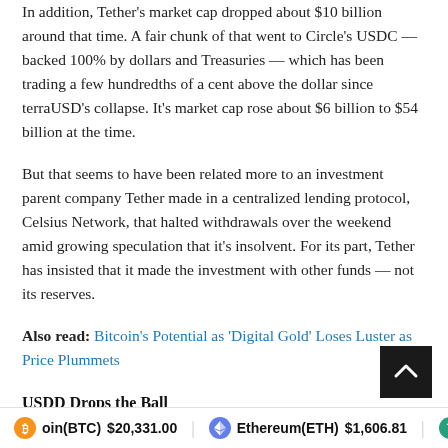In addition, Tether's market cap dropped about $10 billion around that time. A fair chunk of that went to Circle's USDC — backed 100% by dollars and Treasuries — which has been trading a few hundredths of a cent above the dollar since terraUSD's collapse. It's market cap rose about $6 billion to $54 billion at the time.
But that seems to have been related more to an investment parent company Tether made in a centralized lending protocol, Celsius Network, that halted withdrawals over the weekend amid growing speculation that it's insolvent. For its part, Tether has insisted that it made the investment with other funds — not its reserves.
Also read: Bitcoin's Potential as 'Digital Gold' Loses Luster as Price Plummets
USDD Drops the Ball
Bitcoin(BTC) $20,331.00   Ethereum(ETH) $1,606.81   Tether